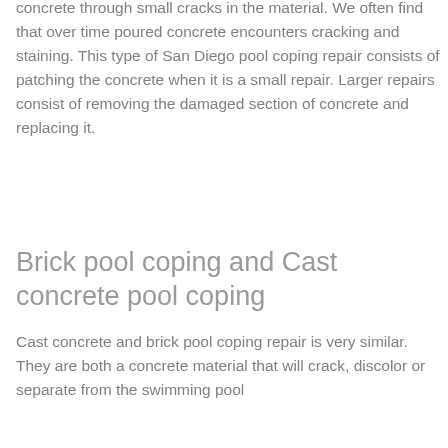concrete through small cracks in the material. We often find that over time poured concrete encounters cracking and staining. This type of San Diego pool coping repair consists of patching the concrete when it is a small repair. Larger repairs consist of removing the damaged section of concrete and replacing it.
Brick pool coping and Cast concrete pool coping
Cast concrete and brick pool coping repair is very similar. They are both a concrete material that will crack, discolor or separate from the swimming pool